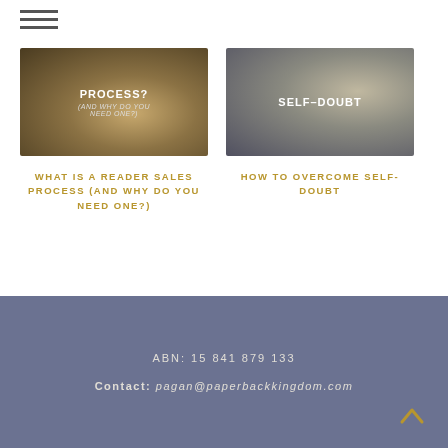[Figure (other): Hamburger menu icon (three horizontal lines)]
[Figure (photo): Warm bokeh background with text 'PROCESS? (AND WHY DO YOU NEED ONE?)']
WHAT IS A READER SALES PROCESS (AND WHY DO YOU NEED ONE?)
[Figure (photo): Cool grey bokeh background with text 'SELF-DOUBT']
HOW TO OVERCOME SELF-DOUBT
ABN: 15 841 879 133
Contact: pagan@paperbackkingdom.com